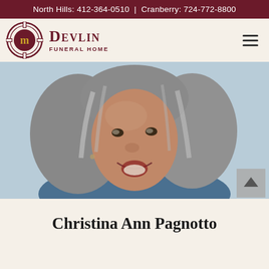North Hills: 412-364-0510  |  Cranberry: 724-772-8800
[Figure (logo): Devlin Funeral Home logo with circular emblem and text]
[Figure (photo): Portrait photo of Christina Ann Pagnotto, an older woman with gray shoulder-length hair, smiling, against a light blue background]
Christina Ann Pagnotto